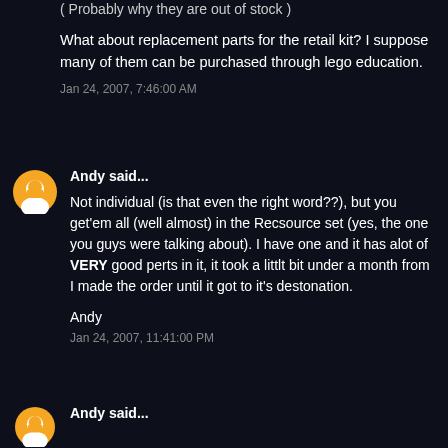( Probably why they are out of stock )
What about replacement parts for the retail kit? I suppose many of them can be purchased through lego education.
Jan 24, 2007, 7:46:00 AM
Andy said...
Not individual (is that even the right word??), but you get'em all (well almost) in the Recsource set (yes, the one you guys were talking about). I have one and it has alot of VERY good perts in it, it took a littlt bit under a month from I made the order until it got to it's destonation.
Andy
Jan 24, 2007, 11:41:00 PM
Andy said...